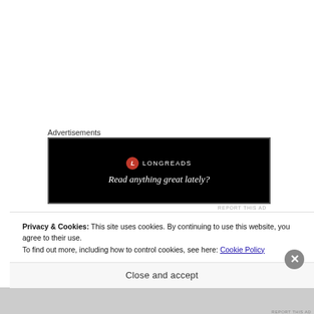Advertisements
[Figure (other): Longreads advertisement banner with black background. Shows a red circular logo with 'L' and text 'LONGREADS' beside it, with tagline 'Read anything great lately?']
REPORT THIS AD
Privacy & Cookies: This site uses cookies. By continuing to use this website, you agree to their use.
To find out more, including how to control cookies, see here: Cookie Policy
Close and accept